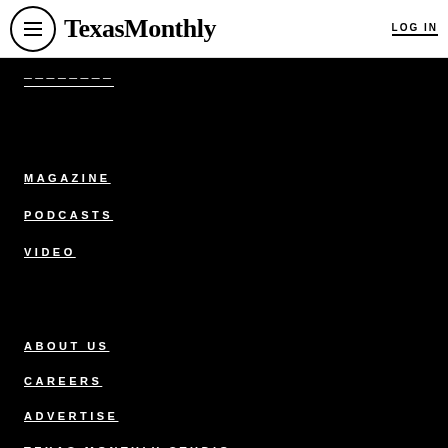TexasMonthly — LOG IN
MAGAZINE
PODCASTS
VIDEO
About
ABOUT US
CAREERS
ADVERTISE
TEXAS MONTHLY STUDIO
FAQS